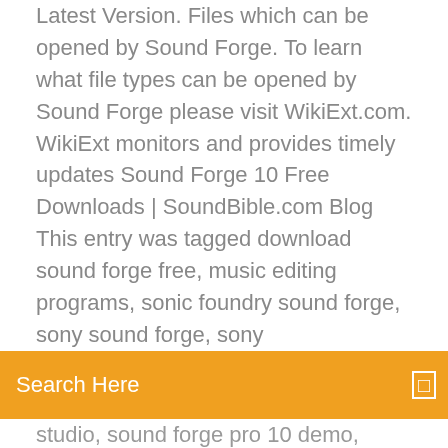Latest Version. Files which can be opened by Sound Forge. To learn what file types can be opened by Sound Forge please visit WikiExt.com. WikiExt monitors and provides timely updates Sound Forge 10 Free Downloads | SoundBible.com Blog This entry was tagged download sound forge free, music editing programs, sonic foundry sound forge, sony sound forge, sony
[Figure (other): Orange search bar with text 'Search Here' and a small icon on the right]
studio, sound forge pro 10 demo, sound forge pro demo by admin. Bookmark the permalink.
Steam engine software free download
Juegos de guerra 3d para jugar en linea
Free graphing calculator software for pc
Microsoft onenote free download for windows 8
How to delete all photos on iphone 5c
Best free android vpn apps
How to make a crack for a pc game
Acer aspire bios batterie wechseln